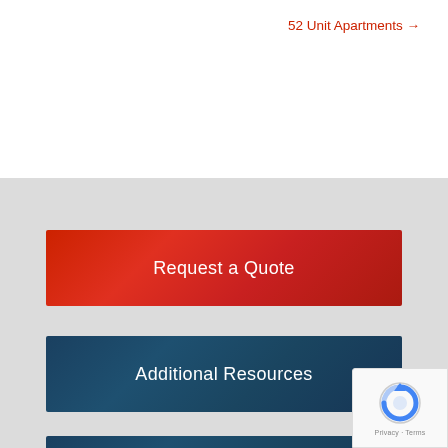52 Unit Apartments →
Request a Quote
Additional Resources
Give Us Feedback
[Figure (logo): reCAPTCHA badge with Privacy and Terms links]